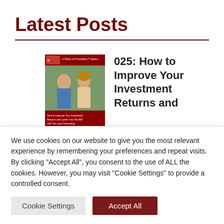Latest Posts
[Figure (photo): Thumbnail image for podcast episode 025 showing two people with text 'How to Improve Your Investment Returns and Lower Your Tax Bill with Tax-Loss Harvesting']
025: How to Improve Your Investment Returns and
We use cookies on our website to give you the most relevant experience by remembering your preferences and repeat visits. By clicking "Accept All", you consent to the use of ALL the cookies. However, you may visit "Cookie Settings" to provide a controlled consent.
Cookie Settings | Accept All